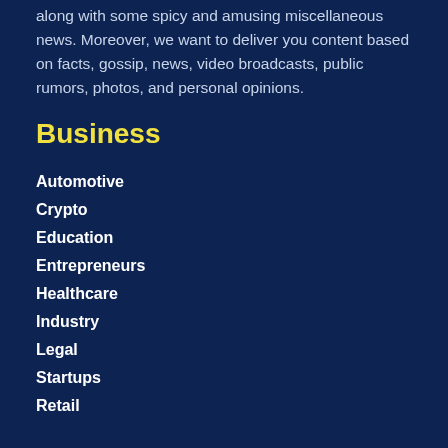along with some spicy and amusing miscellaneous news. Moreover, we want to deliver you content based on facts, gossip, news, video broadcasts, public rumors, photos, and personal opinions.
Business
Automotive
Crypto
Education
Entrepreneurs
Healthcare
Industry
Legal
Startups
Retail
Money
Banking